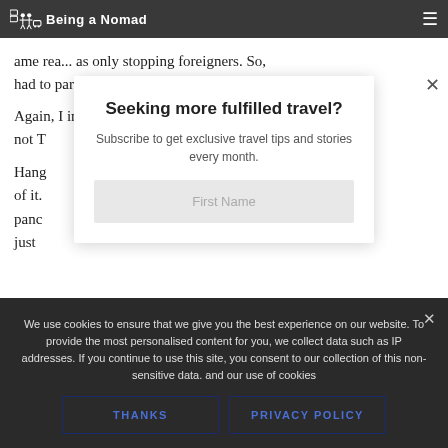Being a Nomad
ame rea... as only stopping foreigners. So... had to park around 200 metres down the road. Again, I imagine things are quite different when it's not T... Hang... of it. panc... just
Seeking more fulfilled travel?
Subscribe to get exclusive travel tips and stories every month.
First Name
We use cookies to ensure that we give you the best experience on our website. To provide the most personalised content for you, we collect data such as IP addresses. If you continue to use this site, you consent to our collection of this non-sensitive data. and our use of cookies
THANKS
PRIVACY POLICY